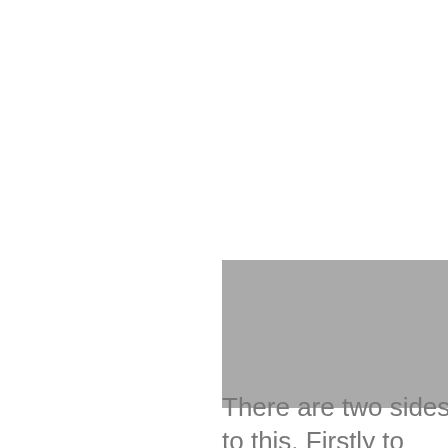[Figure (other): Gray rectangular block, partially overlapping with text below]
There are two sides to this. Firstly to require contingency plans to deal with situations where there is a lack of liquidity and secondly to ensure that managers do not simply hold large cash buffers over a long period in anticipation of future liquidity events. This is likely to require